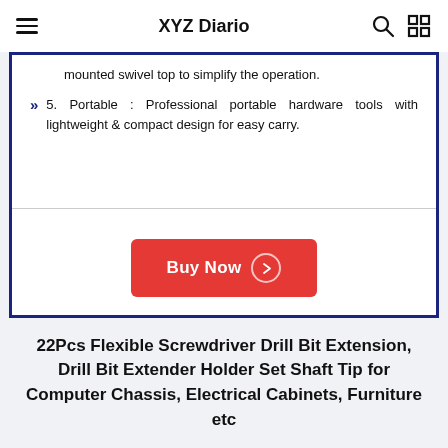XYZ Diario
mounted swivel top to simplify the operation.
5. Portable : Professional portable hardware tools with lightweight & compact design for easy carry.
Buy Now
22Pcs Flexible Screwdriver Drill Bit Extension, Drill Bit Extender Holder Set Shaft Tip for Computer Chassis, Electrical Cabinets, Furniture etc